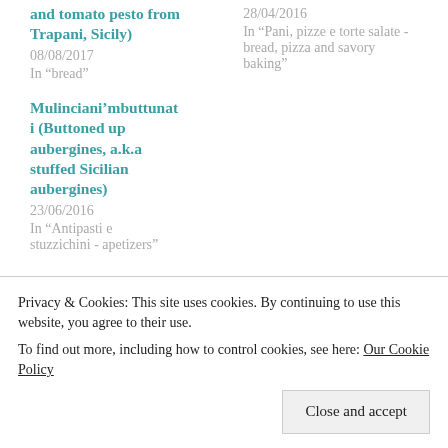and tomato pesto from Trapani, Sicily)
08/08/2017
In "bread"
28/04/2016
In "Pani, pizze e torte salate - bread, pizza and savory baking"
Mulinciani'mbuttunat¯ (Buttoned up aubergines, a.k.a stuffed Sicilian aubergines)
23/06/2016
In "Antipasti e stuzzichini - apetizers"
POSTED IN AUTUMN, PASTA E RISO - PASTA AND
Privacy & Cookies: This site uses cookies. By continuing to use this website, you agree to their use.
To find out more, including how to control cookies, see here: Our Cookie Policy
Close and accept